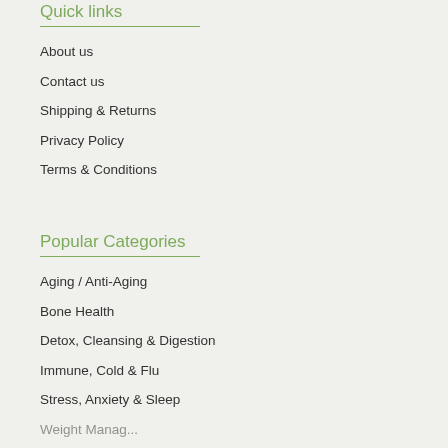Quick links
About us
Contact us
Shipping & Returns
Privacy Policy
Terms & Conditions
Popular Categories
Aging / Anti-Aging
Bone Health
Detox, Cleansing & Digestion
Immune, Cold & Flu
Stress, Anxiety & Sleep
Weight Management